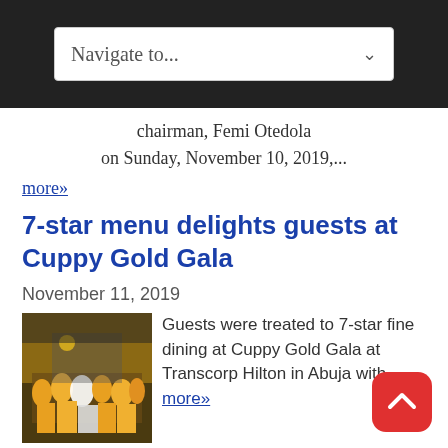Navigate to...
chairman, Femi Otedola on Sunday, November 10, 2019,...
more»
7-star menu delights guests at Cuppy Gold Gala
November 11, 2019
[Figure (photo): Group photo of people at Cuppy Gold Gala event, colorful costumes]
Guests were treated to 7-star fine dining at Cuppy Gold Gala at Transcorp Hilton in Abuja with... more»
Robust performances colour Cuppy Gold Gala in brilliant hues